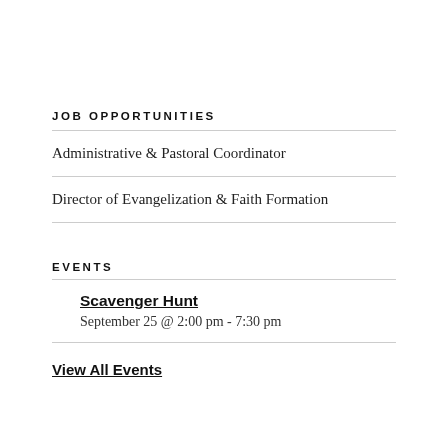JOB OPPORTUNITIES
Administrative & Pastoral Coordinator
Director of Evangelization & Faith Formation
EVENTS
Scavenger Hunt
September 25 @ 2:00 pm - 7:30 pm
View All Events